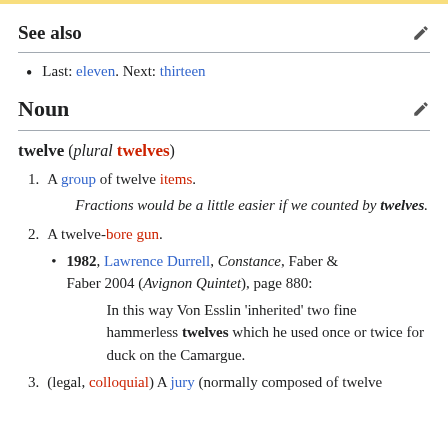See also
Last: eleven. Next: thirteen
Noun
twelve (plural twelves)
1. A group of twelve items. Fractions would be a little easier if we counted by twelves.
2. A twelve-bore gun.
1982, Lawrence Durrell, Constance, Faber & Faber 2004 (Avignon Quintet), page 880: In this way Von Esslin 'inherited' two fine hammerless twelves which he used once or twice for duck on the Camargue.
3. (legal, colloquial) A jury (normally composed of twelve